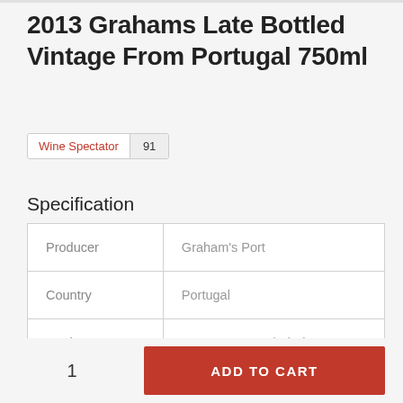2013 Grahams Late Bottled Vintage From Portugal 750ml
Wine Spectator 91
Specification
| Producer | Graham's Port |
| Country | Portugal |
| Region | LBV – Late Bottled Vintage |
1
ADD TO CART